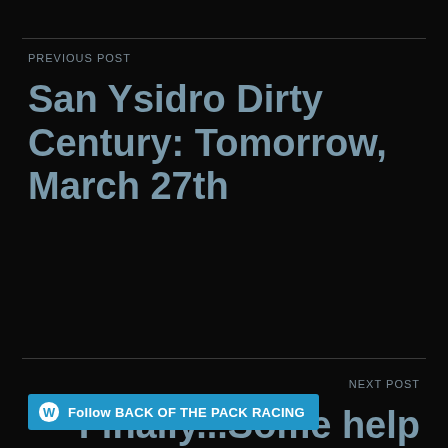PREVIOUS POST
San Ysidro Dirty Century: Tomorrow, March 27th
NEXT POST
Finally...Some help from the B.P.R. Crew
Follow BACK OF THE PACK RACING